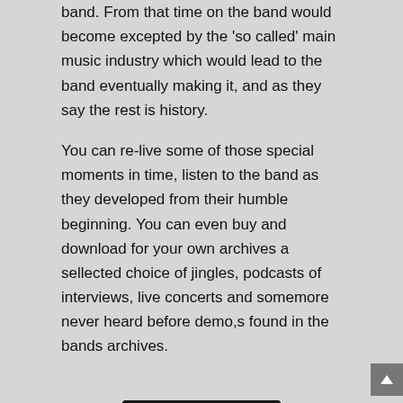band. From that time on the band would become excepted by the 'so called' main music industry which would lead to the band eventually making it, and as they say the rest is history.
You can re-live some of those special moments in time, listen to the band as they developed from their humble beginning. You can even buy and download for your own archives a sellected choice of jingles, podcasts of interviews, live concerts and somemore never heard before demo,s found in the bands archives.
[Figure (screenshot): A music player widget with dark background showing 'Solar Radio Original' by The Cool-Notes, with album art showing Solar Radio 102.5 FM logo and playback controls at the bottom.]